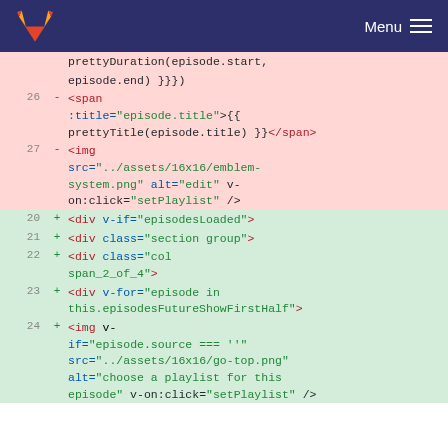Menu
[Figure (screenshot): GitLab logo (fox/tanuki icon) in header]
Code diff view showing HTML template changes. Removed lines (pink): prettyDuration(episode.start, episode.end) }}) line 26: <span :title="episode.title">{{ prettyTitle(episode.title) }}</span> line 27: <img src="../assets/16x16/emblem-system.png" alt="edit" v-on:click="setPlaylist" />. Added lines (green): 20: <div v-if="episodesLoaded"> 21: <div class="section group"> 22: <div class="col span_2_of_4"> 23: <div v-for="episode in this.episodesFutureShowFirstHalf"> 24: <img v-if="episode.source === ''" src="../assets/16x16/go-top.png" alt="choose a playlist for this episode" v-on:click="setPlaylist" />